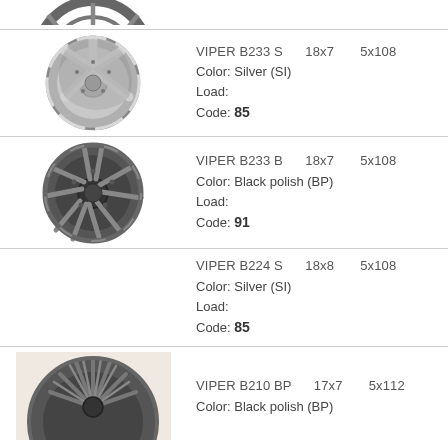[Figure (photo): Partial view of a dark/chrome car alloy wheel at the top of the page (cropped)]
[Figure (photo): Silver 5-spoke car alloy wheel - VIPER B233 S]
VIPER B233 S    18x7    5x108
Color: Silver (SI)
Load:
Code: 85
[Figure (photo): Black polish 5-spoke car alloy wheel - VIPER B233 B]
VIPER B233 B    18x7    5x108
Color: Black polish (BP)
Load:
Code: 91
VIPER B224 S    18x8    5x108
Color: Silver (SI)
Load:
Code: 85
[Figure (photo): Black polish multi-spoke car alloy wheel - VIPER B210 BP (partial, bottom of page)]
VIPER B210 BP    17x7    5x112
Color: Black polish (BP)